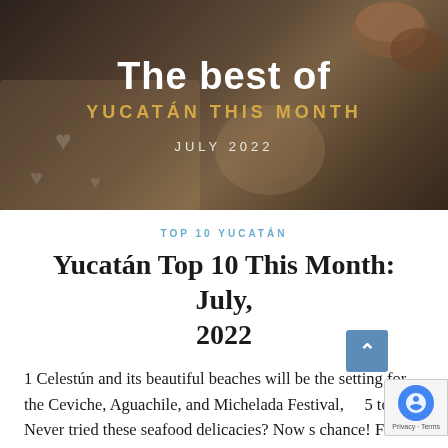[Figure (photo): Hero banner image showing Mexican food/craft items on a wooden surface (clay bowls, heart-shaped decorations, feathers, wooden utensils) with dark overlay. Text overlaid: 'The best of YUCATÁN THIS MONTH JULY 2022'.]
TOP 10 YUCATÁN
Yucatán Top 10 This Month: July, 2022
1 Celestún and its beautiful beaches will be the setting for the Ceviche, Aguachile, and Michelada Festival, 15 to 17. Never tried these seafood delicacies? Now s chance! FB:...